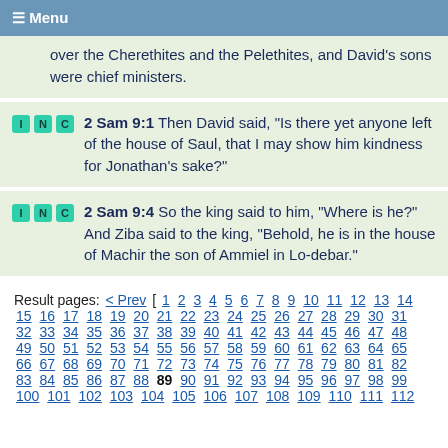≡ Menu
over the Cherethites and the Pelethites, and David's sons were chief ministers.
2 Sam 9:1 Then David said, "Is there yet anyone left of the house of Saul, that I may show him kindness for Jonathan's sake?"
2 Sam 9:4 So the king said to him, "Where is he?" And Ziba said to the king, "Behold, he is in the house of Machir the son of Ammiel in Lo-debar."
Result pages: < Prev [ 1 2 3 4 5 6 7 8 9 10 11 12 13 14 15 16 17 18 19 20 21 22 23 24 25 26 27 28 29 30 31 32 33 34 35 36 37 38 39 40 41 42 43 44 45 46 47 48 49 50 51 52 53 54 55 56 57 58 59 60 61 62 63 64 65 66 67 68 69 70 71 72 73 74 75 76 77 78 79 80 81 82 83 84 85 86 87 88 89 90 91 92 93 94 95 96 97 98 99 100 101 102 103 104 105 106 107 108 109 110 111 112